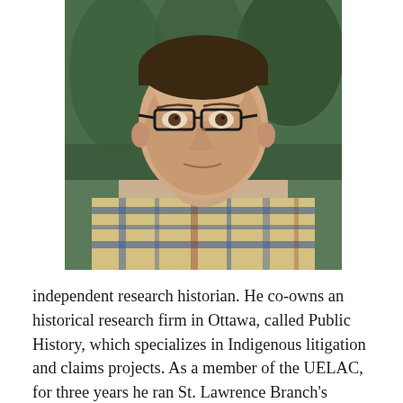[Figure (photo): Portrait photograph of a middle-aged man wearing glasses and a plaid shirt, with evergreen trees in the background.]
independent research historian. He co-owns an historical research firm in Ottawa, called Public History, which specializes in Indigenous litigation and claims projects. As a member of the UELAC, for three years he ran St. Lawrence Branch's “United Empire Loyalist Burial Site” plaque program. Stuart has always had a keen interest in heritage cemeteries, acting as an advocate for their preservation, promoting their importance as cultural landscapes, and investigating their history through archival and bibliographic